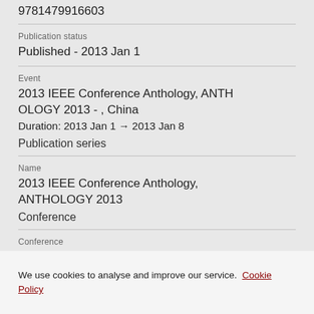9781479916603
Publication status
Published - 2013 Jan 1
Event
2013 IEEE Conference Anthology, ANTHOLOGY 2013 - , China
Duration: 2013 Jan 1 → 2013 Jan 8
Publication series
Name
2013 IEEE Conference Anthology, ANTHOLOGY 2013
Conference
Conference
We use cookies to analyse and improve our service. Cookie Policy